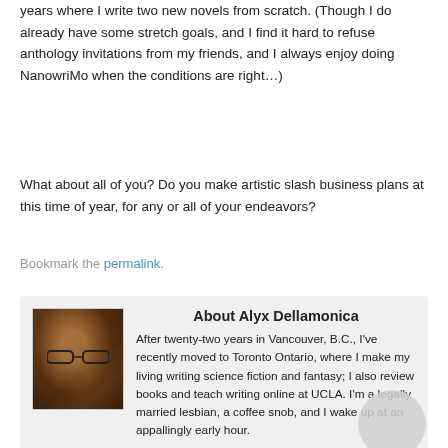years where I write two new novels from scratch. (Though I do already have some stretch goals, and I find it hard to refuse anthology invitations from my friends, and I always enjoy doing NanowriMo when the conditions are right…)
What about all of you? Do you make artistic slash business plans at this time of year, for any or all of your endeavors?
Bookmark the permalink.
About Alyx Dellamonica
[Figure (photo): Headshot photo of Alyx Dellamonica, a person with curly hair wearing glasses]
After twenty-two years in Vancouver, B.C., I've recently moved to Toronto Ontario, where I make my living writing science fiction and fantasy; I also review books and teach writing online at UCLA. I'm a legally married lesbian, a coffee snob, and I wake up at an appallingly early hour.